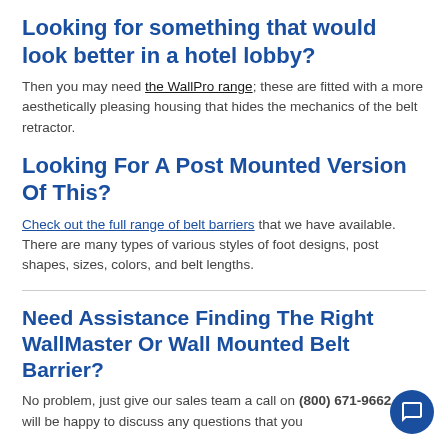Looking for something that would look better in a hotel lobby?
Then you may need the WallPro range; these are fitted with a more aesthetically pleasing housing that hides the mechanics of the belt retractor.
Looking For A Post Mounted Version Of This?
Check out the full range of belt barriers that we have available. There are many types of various styles of foot designs, post shapes, sizes, colors, and belt lengths.
Need Assistance Finding The Right WallMaster Or Wall Mounted Belt Barrier?
No problem, just give our sales team a call on (800) 671-9662, they will be happy to discuss any questions that you